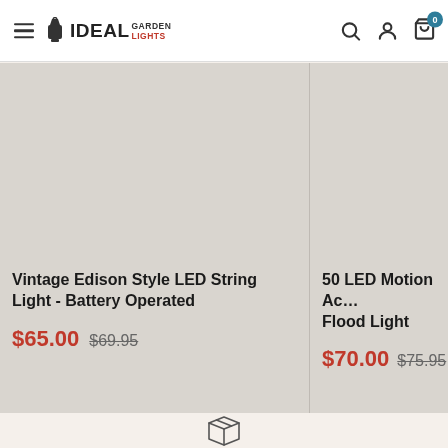[Figure (logo): Ideal Garden Lights logo with lantern icon]
Vintage Edison Style LED String Light - Battery Operated
$65.00  $69.95
50 LED Motion Activated Flood Light
$70.00  $75.95